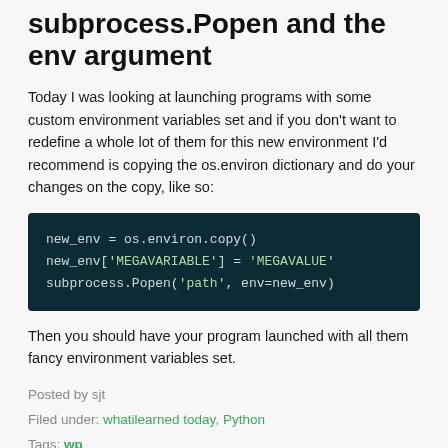subprocess.Popen and the env argument
Today I was looking at launching programs with some custom environment variables set and if you don't want to redefine a whole lot of them for this new environment I'd recommend is copying the os.environ dictionary and do your changes on the copy, like so:
new_env = os.environ.copy()
new_env['MEGAVARIABLE'] = 'MEGAVALUE'
subprocess.Popen('path', env=new_env)
Then you should have your program launched with all them fancy environment variables set.
Posted by sjt
Filed under: whatilearned today, Python
Tags: wp